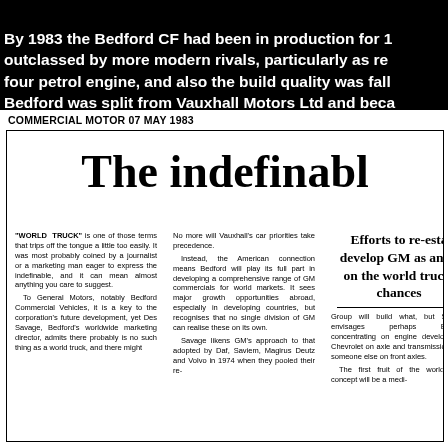By 1983 the Bedford CF had been in production for 1... outclassed by more modern rivals, particularly as re... four petrol engine, and also the build quality was fall... Bedford was split from Vauxhall Motors Ltd and beca... was a division of GM Truck & Bus Group. The Luton ... with a £50m upgrade to the plant and included new a...
COMMERCIAL MOTOR 07 MAY 1983
The indefinabl
"WORLD TRUCK" is one of those terms that trips off the tongue a little too easily. It was most probably coined by a journalist or a marketing man eager to express the indefinable, and it can mean almost anything you care to suggest.
  To General Motors, notably Bedford Commercial Vehicles, it is a key to the corporation's future development, yet Des Savage, Bedford's worldwide marketing director, admits there probably is no such thing as a world truck, and there might
No more will Vauxhall's car priorities take precedence.
  Instead, the American connection means Bedford will play its full part in developing a comprehensive range of GM commercials for world markets. It sees major growth opportunities abroad, especially in developing countries, but recognises that no single division of GM can realise these on its own.
  Savage likens GM's approach to that adopted by Daf, Saviem, Magirus Deutz and Volvo in 1974 when they pooled their re-
Efforts to re-establish and develop GM as an international on the world truck. chances
Group will build what, but Savage envisages perhaps Bedford concentrating on engine development, Chevrolet on axle and transmission, and someone else on front axles.
  The first fruit of the world truck concept will be a medi-